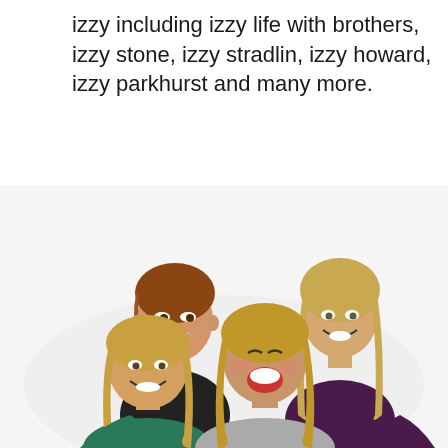izzy including izzy life with brothers, izzy stone, izzy stradlin, izzy howard, izzy parkhurst and many more.
[Figure (photo): Group photo of four smiling women/girls — one older woman with reddish-brown hair in the back left, one young woman with long blonde hair in the back right, one young woman with blonde hair in the front left, and one teenage girl with long blonde hair laughing in the front center, all on a white background.]